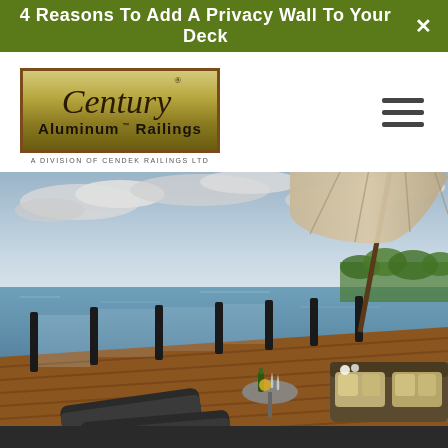4 Reasons To Add A Privacy Wall To Your Deck
[Figure (logo): Century Aluminum Railings logo — ornate script 'Century' above bold 'Aluminum Railings' text inside a gold/olive bordered rectangular box, with tagline 'A Division of Cendek Railings Ltd' below]
[Figure (photo): Outdoor deck scene overlooking a large body of water (lake or sea) under a partly cloudy sky. Dark aluminum railing posts with glass panels line the deck edge. In the foreground: lounge chairs and a small round table with wine glasses, a wine bottle, and yellow flowers. To the right: wicker outdoor sofa with cushions under a large beige cantilever umbrella. Deck boards are warm wood-tone composite. Green trees visible in the distance on the right.]